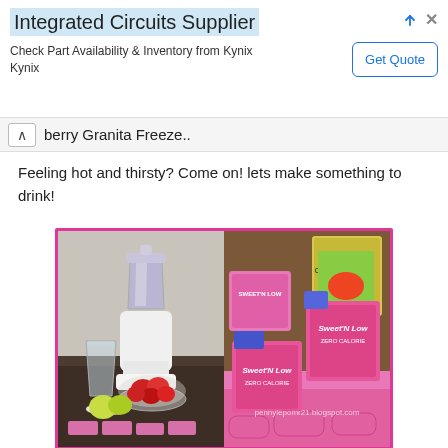[Figure (infographic): Advertisement banner for Integrated Circuits Supplier - Kynix. Shows title 'Integrated Circuits Supplier', subtitle 'Check Part Availability & Inventory from Kynix Kynix', and a 'Get Quote' button. Has ad icons (arrow and X) in top right.]
berry Granita Freeze..
Feeling hot and thirsty? Come on! lets make something to drink!
[Figure (photo): Two-photo collage with pink border. Left photo shows a white blender, glass of water, bowl of strawberries, lime slices, and pink Sweet'N Low packets on a dark table. Right photo shows multiple boxes and packages of Sweet'N Low sweetener products arranged together on a pink background.]